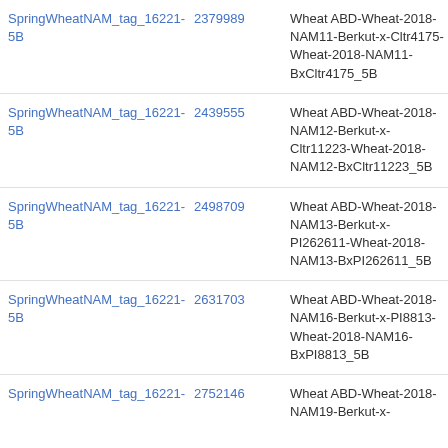| SpringWheatNAM_tag_16221-5B | 2379989 | Wheat ABD-Wheat-2018-NAM11-Berkut-x-Cltr4175-Wheat-2018-NAM11-BxCltr4175_5B | Gene |
| SpringWheatNAM_tag_16221-5B | 2439555 | Wheat ABD-Wheat-2018-NAM12-Berkut-x-Cltr11223-Wheat-2018-NAM12-BxCltr11223_5B | Gene |
| SpringWheatNAM_tag_16221-5B | 2498709 | Wheat ABD-Wheat-2018-NAM13-Berkut-x-PI262611-Wheat-2018-NAM13-BxPI262611_5B | Gene |
| SpringWheatNAM_tag_16221-5B | 2631703 | Wheat ABD-Wheat-2018-NAM16-Berkut-x-PI8813-Wheat-2018-NAM16-BxPI8813_5B | Gene |
| SpringWheatNAM_tag_16221- | 2752146 | Wheat ABD-Wheat-2018-NAM19-Berkut-x- | Gene |